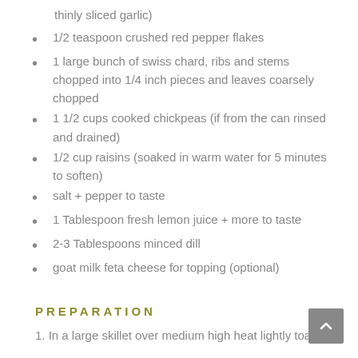thinly sliced garlic)
1/2 teaspoon crushed red pepper flakes
1 large bunch of swiss chard, ribs and stems chopped into 1/4 inch pieces and leaves coarsely chopped
1 1/2 cups cooked chickpeas (if from the can rinsed and drained)
1/2 cup raisins (soaked in warm water for 5 minutes to soften)
salt + pepper to taste
1 Tablespoon fresh lemon juice + more to taste
2-3 Tablespoons minced dill
goat milk feta cheese for topping (optional)
PREPARATION
1. In a large skillet over medium high heat lightly toast